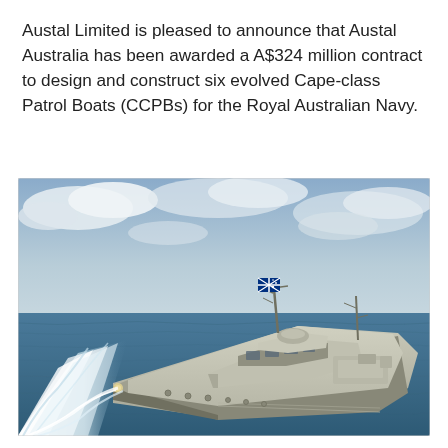Austal Limited is pleased to announce that Austal Australia has been awarded a A$324 million contract to design and construct six evolved Cape-class Patrol Boats (CCPBs) for the Royal Australian Navy.
[Figure (illustration): Rendered illustration of an evolved Cape-class Patrol Boat (CCPB) underway at sea, showing a modern grey military patrol vessel with an Australian flag flying from the mast, cutting through blue ocean water with a white wake, under a partly cloudy sky.]